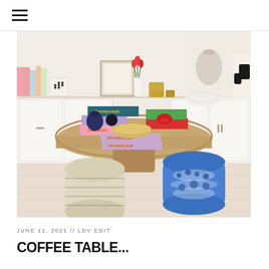≡ (hamburger menu icon)
[Figure (photo): Interior room photo showing a round wooden coffee table with decorative books (Palm Beach, Provence, Mykonos Muse, Ibiza titles), blue and white ceramic garden stool seats underneath, vases and decorative objects on top, against a backdrop of white cabinetry with shelves holding books and decor items.]
JUNE 11, 2021 // LDV EDIT
COFFEE TABLE...